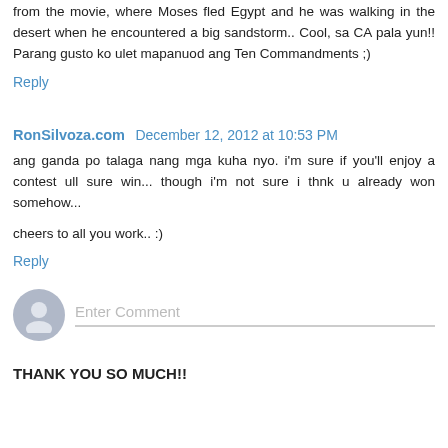from the movie, where Moses fled Egypt and he was walking in the desert when he encountered a big sandstorm.. Cool, sa CA pala yun!! Parang gusto ko ulet mapanuod ang Ten Commandments ;)
Reply
RonSilvoza.com  December 12, 2012 at 10:53 PM
ang ganda po talaga nang mga kuha nyo. i'm sure if you'll enjoy a contest ull sure win... though i'm not sure i thnk u already won somehow...
cheers to all you work.. :)
Reply
Enter Comment
THANK YOU SO MUCH!!